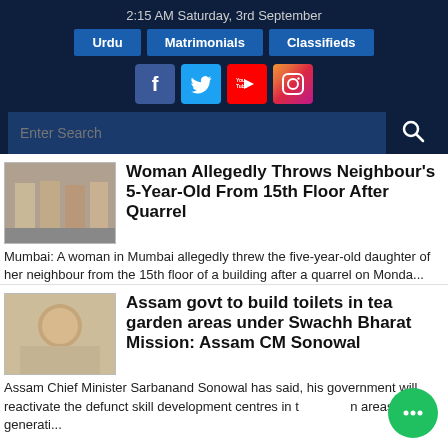2:15 AM Saturday, 3rd September
Urdu | Matrimonials | Classifieds
[Figure (screenshot): Social media icons: Facebook, Twitter, YouTube, Instagram]
Enter Search
Woman Allegedly Throws Neighbour's 5-Year-Old From 15th Floor After Quarrel
Mumbai: A woman in Mumbai allegedly threw the five-year-old daughter of her neighbour from the 15th floor of a building after a quarrel on Monda...
Assam govt to build toilets in tea garden areas under Swachh Bharat Mission: Assam CM Sonowal
Assam Chief Minister Sarbanand Sonowal has said, his government will reactivate the defunct skill development centres in t n areas for generati...